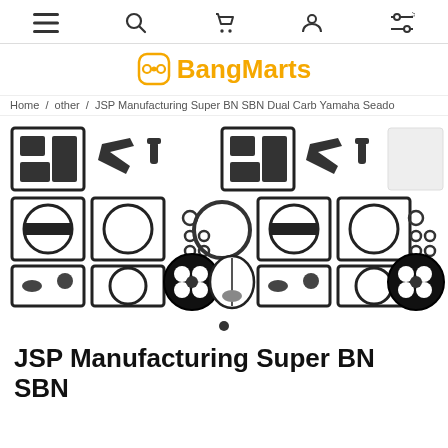≡  🔍  🛒  👤  ⚙
BangMarts
Home / other / JSP Manufacturing Super BN SBN Dual Carb Yamaha Seado
[Figure (photo): Product photo showing JSP Manufacturing Super BN SBN carburetor rebuild kit parts laid out, including gaskets, diaphragms, O-rings, and other components in black rubber/plastic]
JSP Manufacturing Super BN SBN